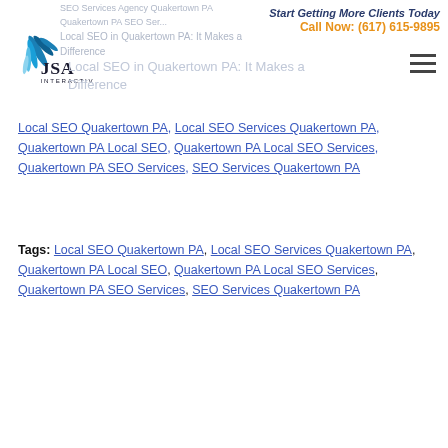Start Getting More Clients Today
Call Now: (617) 615-9895
[Figure (logo): JSA Interactive logo with blue feather/wing design and text 'JSA INTERACTIVE']
Local SEO Quakertown PA, Local SEO Services Quakertown PA, Quakertown PA Local SEO, Quakertown PA Local SEO Services, Quakertown PA SEO Services, SEO Services Quakertown PA
Tags: Local SEO Quakertown PA, Local SEO Services Quakertown PA, Quakertown PA Local SEO, Quakertown PA Local SEO Services, Quakertown PA SEO Services, SEO Services Quakertown PA